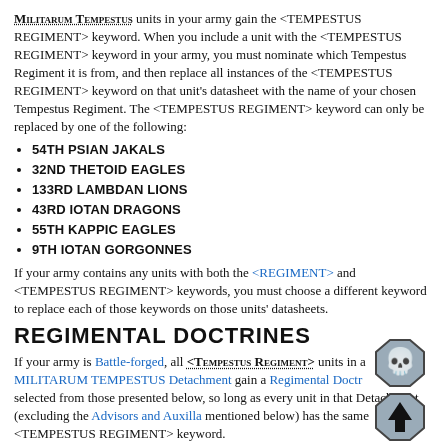Militarum Tempestus units in your army gain the <TEMPESTUS REGIMENT> keyword. When you include a unit with the <TEMPESTUS REGIMENT> keyword in your army, you must nominate which Tempestus Regiment it is from, and then replace all instances of the <TEMPESTUS REGIMENT> keyword on that unit's datasheet with the name of your chosen Tempestus Regiment. The <TEMPESTUS REGIMENT> keyword can only be replaced by one of the following:
54TH PSIAN JAKALS
32ND THETOID EAGLES
133RD LAMBDAN LIONS
43RD IOTAN DRAGONS
55TH KAPPIC EAGLES
9TH IOTAN GORGONNES
If your army contains any units with both the <REGIMENT> and <TEMPESTUS REGIMENT> keywords, you must choose a different keyword to replace each of those keywords on those units' datasheets.
REGIMENTAL DOCTRINES
If your army is Battle-forged, all <TEMPESTUS REGIMENT> units in a MILITARUM TEMPESTUS Detachment gain a Regimental Doctrine selected from those presented below, so long as every unit in that Detachment (excluding the Advisors and Auxilla mentioned below) has the same <TEMPESTUS REGIMENT> keyword.